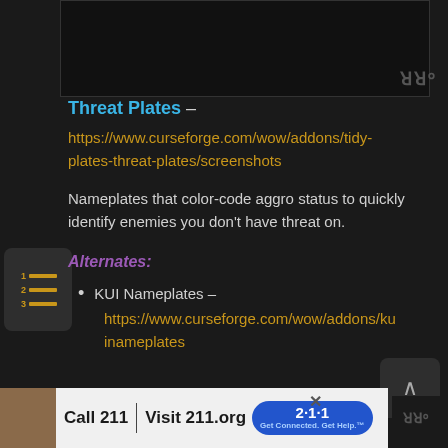[Figure (screenshot): Dark screenshot area at the top showing a game UI]
Threat Plates –
https://www.curseforge.com/wow/addons/tidy-plates-threat-plates/screenshots
Nameplates that color-code aggro status to quickly identify enemies you don't have threat on.
Alternates:
KUI Nameplates – https://www.curseforge.com/wow/addons/kuinameplates
[Figure (photo): Advertisement banner: Call 211 | Visit 211.org with 211 badge and photo of a woman]